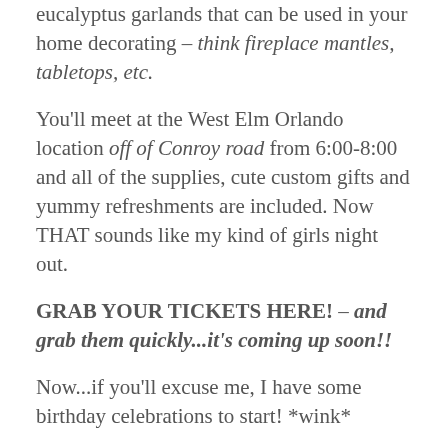eucalyptus garlands that can be used in your home decorating – think fireplace mantles, tabletops, etc.
You'll meet at the West Elm Orlando location off of Conroy road from 6:00-8:00 and all of the supplies, cute custom gifts and yummy refreshments are included. Now THAT sounds like my kind of girls night out.
GRAB YOUR TICKETS HERE! – and grab them quickly...it's coming up soon!!
Now...if you'll excuse me, I have some birthday celebrations to start! *wink*